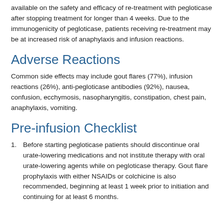available on the safety and efficacy of re-treatment with pegloticase after stopping treatment for longer than 4 weeks. Due to the immunogenicity of pegloticase, patients receiving re-treatment may be at increased risk of anaphylaxis and infusion reactions.
Adverse Reactions
Common side effects may include gout flares (77%), infusion reactions (26%), anti-pegloticase antibodies (92%), nausea, confusion, ecchymosis, nasopharyngitis, constipation, chest pain, anaphylaxis, vomiting.
Pre-infusion Checklist
Before starting pegloticase patients should discontinue oral urate-lowering medications and not institute therapy with oral urate-lowering agents while on pegloticase therapy. Gout flare prophylaxis with either NSAIDs or colchicine is also recommended, beginning at least 1 week prior to initiation and continuing for at least 6 months.